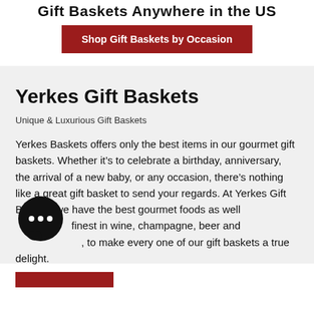Gift Baskets Anywhere in the US
Shop Gift Baskets by Occasion
Yerkes Gift Baskets
Unique & Luxurious Gift Baskets
Yerkes Baskets offers only the best items in our gourmet gift baskets. Whether it's to celebrate a birthday, anniversary, the arrival of a new baby, or any occasion, there's nothing like a great gift basket to send your regards. At Yerkes Gift Baskets we have the best gourmet foods as well as the finest in wine, champagne, beer and spirits, to make every one of our gift baskets a true delight.